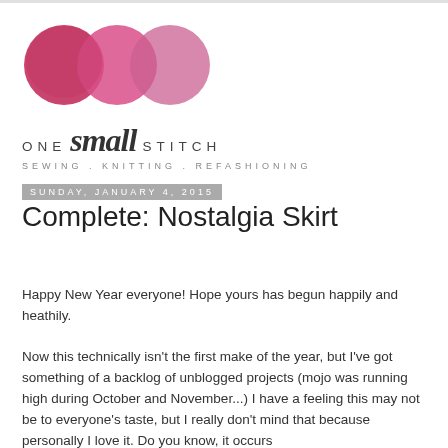[Figure (logo): One Small Stitch blog logo with three overlapping circles in shades of pink/magenta/rose, and text 'ONE small STITCH' with tagline 'SEWING. KNITTING. REFASHIONING']
Sunday, January 4, 2015
Complete: Nostalgia Skirt
Happy New Year everyone! Hope yours has begun happily and heathily.
Now this technically isn't the first make of the year, but I've got something of a backlog of unblogged projects (mojo was running high during October and November...) I have a feeling this may not be to everyone's taste, but I really don't mind that because personally I love it. Do you know, it occurs